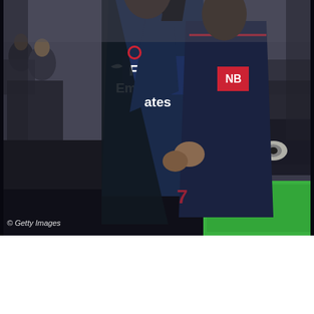[Figure (photo): Two PSG (Paris Saint-Germain) football players in dark navy blue Fly Emirates jerseys celebrating together on the pitch. One player has his arm raised pointing upward while the other embraces him. Crowd and photographers visible in the background. Getty Images watermark in the lower left corner.]